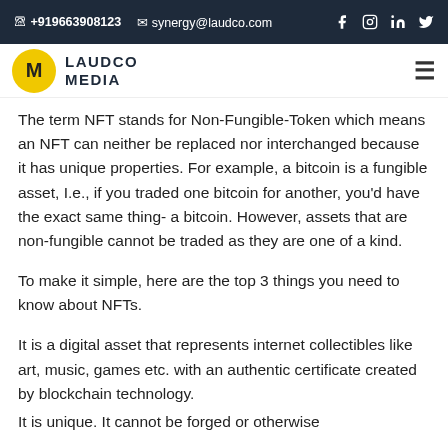+919663908123  synergy@laudco.com
[Figure (logo): Laudco Media logo with yellow circle M icon and text LAUDCO MEDIA]
The term NFT stands for Non-Fungible-Token which means an NFT can neither be replaced nor interchanged because it has unique properties. For example, a bitcoin is a fungible asset, I.e., if you traded one bitcoin for another, you'd have the exact same thing- a bitcoin. However, assets that are non-fungible cannot be traded as they are one of a kind.
To make it simple, here are the top 3 things you need to know about NFTs.
It is a digital asset that represents internet collectibles like art, music, games etc. with an authentic certificate created by blockchain technology.
It is unique. It cannot be forged or otherwise